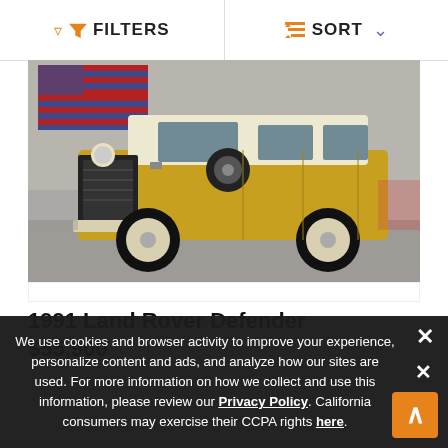FILTERS   SORT
[Figure (photo): Yellow 1991 Land Rover Defender SUV parked in a showroom with an American flag on the wall in the background.]
1991 Land Rover Defender
$55,900
We use cookies and browser activity to improve your experience, personalize content and ads, and analyze how our sites are used. For more information on how we collect and use this information, please review our Privacy Policy. California consumers may exercise their CCPA rights here.